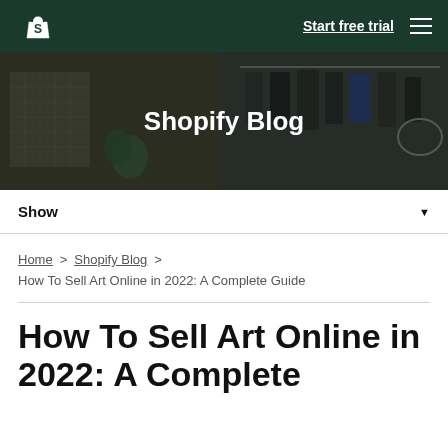Shopify logo | Start free trial | Menu
[Figure (photo): Hero banner with dark overlay showing clothing on hangers and retail items, with 'Shopify Blog' title overlaid in white bold text]
Shopify Blog
Show ▼
Home > Shopify Blog > How To Sell Art Online in 2022: A Complete Guide
How To Sell Art Online in 2022: A Complete